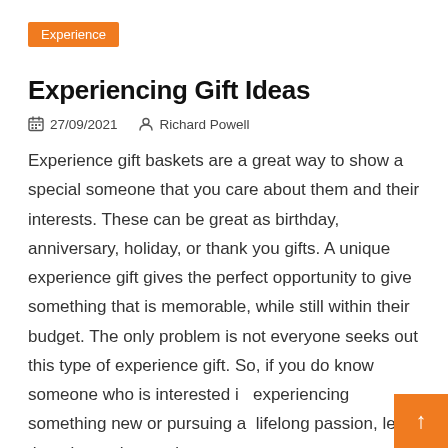Experience
Experiencing Gift Ideas
27/09/2021   Richard Powell
Experience gift baskets are a great way to show a special someone that you care about them and their interests. These can be great as birthday, anniversary, holiday, or thank you gifts. A unique experience gift gives the perfect opportunity to give something that is memorable, while still within their budget. The only problem is not everyone seeks out this type of experience gift. So, if you do know someone who is interested in experiencing something new or pursuing a lifelong passion, let them know that you're